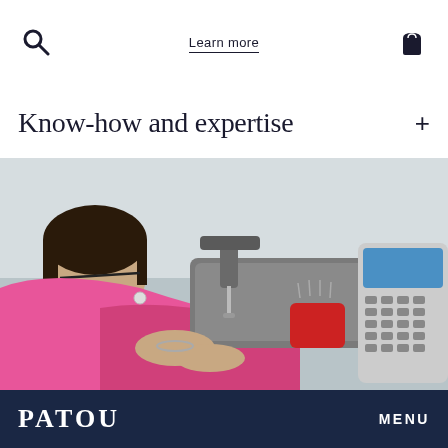Learn more
Know-how and expertise
[Figure (photo): A seamstress working at an industrial sewing machine, sewing pink fabric with red pin cushion nearby and a digital control panel to the right.]
PATOU    MENU